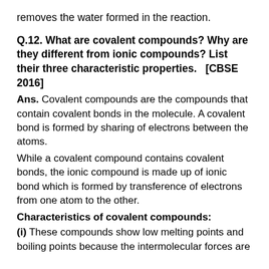removes the water formed in the reaction.
Q.12. What are covalent compounds? Why are they different from ionic compounds? List their three characteristic properties.   [CBSE 2016]
Ans. Covalent compounds are the compounds that contain covalent bonds in the molecule. A covalent bond is formed by sharing of electrons between the atoms.
While a covalent compound contains covalent bonds, the ionic compound is made up of ionic bond which is formed by transference of electrons from one atom to the other.
Characteristics of covalent compounds:
(i) These compounds show low melting points and boiling points because the intermolecular forces are